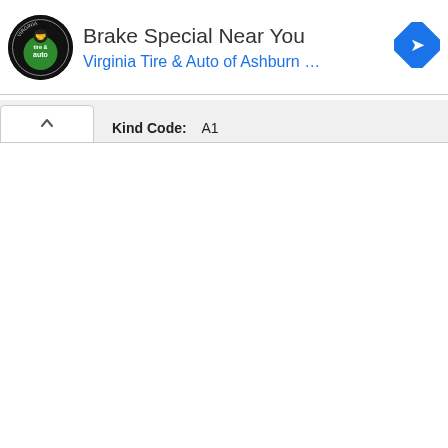[Figure (screenshot): Advertisement banner showing Virginia Tire & Auto of Ashburn logo (circular black logo with tire & auto text), headline 'Brake Special Near You', subheadline 'Virginia Tire & Auto of Ashburn …' in blue, and a blue diamond navigation arrow icon on the right.]
Kind Code:    A1